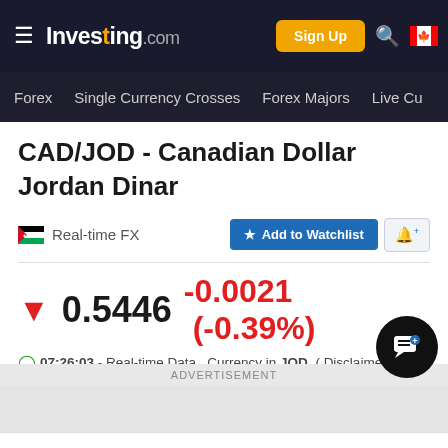Investing.com
Forex  Single Currency Crosses  Forex Majors  Live Cu
CAD/JOD - Canadian Dollar Jordan Dinar
Real-time FX
Add to Watchlist
0.5446  -0.0021  (-0.39%)
07:26:03 - Real-time Data.  Currency in JOD  ( Disclaimer )
Prev. Close:
Bid/Ask: